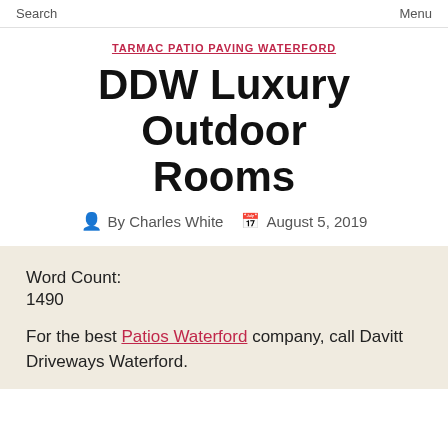Search  Menu
TARMAC PATIO PAVING WATERFORD
DDW Luxury Outdoor Rooms
By Charles White  August 5, 2019
Word Count:
1490
For the best Patios Waterford company, call Davitt Driveways Waterford.